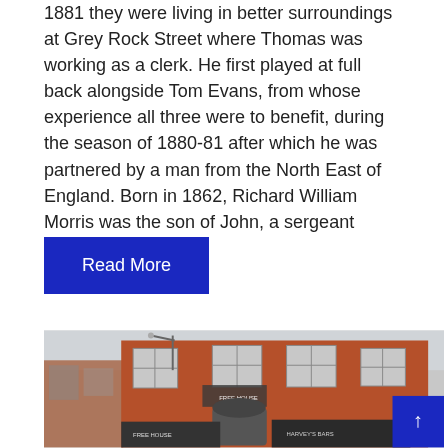1881 they were living in better surroundings at Grey Rock Street where Thomas was working as a clerk. He first played at full back alongside Tom Evans, from whose experience all three were to benefit, during the season of 1880-81 after which he was partnered by a man from the North East of England. Born in 1862, Richard William Morris was the son of John, a sergeant major…
Read More
[Figure (photo): Photograph of a red brick multi-storey building on a street corner, with shops on the ground floor including signs reading 'FREE HOUSE' and 'HARVEY'S BARS'. A blue scroll-to-top button with an upward arrow is overlaid in the bottom-right corner of the image.]